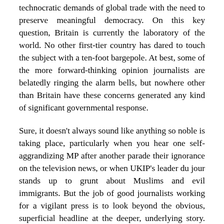technocratic demands of global trade with the need to preserve meaningful democracy. On this key question, Britain is currently the laboratory of the world. No other first-tier country has dared to touch the subject with a ten-foot bargepole. At best, some of the more forward-thinking opinion journalists are belatedly ringing the alarm bells, but nowhere other than Britain have these concerns generated any kind of significant governmental response.
Sure, it doesn't always sound like anything so noble is taking place, particularly when you hear one self-aggrandizing MP after another parade their ignorance on the television news, or when UKIP's leader du jour stands up to grunt about Muslims and evil immigrants. But the job of good journalists working for a vigilant press is to look beyond the obvious, superficial headline at the deeper, underlying story. Just